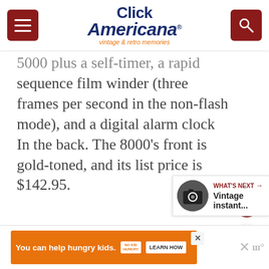Click Americana — vintage & retro memories
5000 plus a self-timer, a rapid sequence film winder (three frames per second in the non-flash mode), and a digital alarm clock In the back. The 8000's front is gold-toned, and its list price is $142.95.
[Figure (screenshot): What's Next teaser with vintage instant camera thumbnail]
[Figure (screenshot): Advertisement bar: You can help hungry kids. No Kid Hungry. Learn How.]